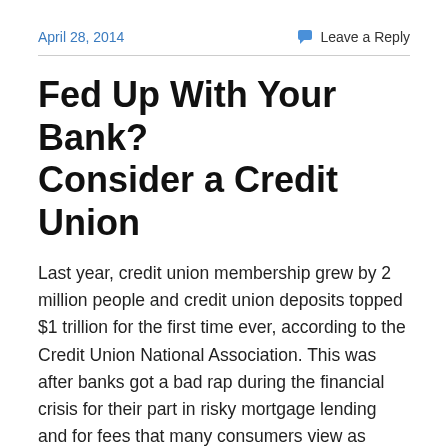April 28, 2014    Leave a Reply
Fed Up With Your Bank? Consider a Credit Union
Last year, credit union membership grew by 2 million people and credit union deposits topped $1 trillion for the first time ever, according to the Credit Union National Association. This was after banks got a bad rap during the financial crisis for their part in risky mortgage lending and for fees that many consumers view as unnecessarily greedy…
Think of credit unions as not-for-profit banks. That's what